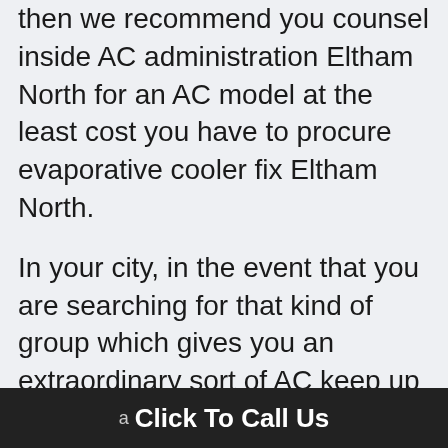then we recommend you counsel inside AC administration Eltham North for an AC model at the least cost you have to procure evaporative cooler fix Eltham North.
In your city, in the event that you are searching for that kind of group which gives you an extraordinary sort of AC keep up then here Toshiba AC fix fellow in Eltham North best alternative for you. In the constrained time, you can without much of a stretch keep up the arrangement about anything. At ostensible charges for the
a Click To Call Us